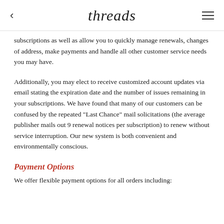threads
subscriptions as well as allow you to quickly manage renewals, changes of address, make payments and handle all other customer service needs you may have.
Additionally, you may elect to receive customized account updates via email stating the expiration date and the number of issues remaining in your subscriptions. We have found that many of our customers can be confused by the repeated "Last Chance" mail solicitations (the average publisher mails out 9 renewal notices per subscription) to renew without service interruption. Our new system is both convenient and environmentally conscious.
Payment Options
We offer flexible payment options for all orders including: